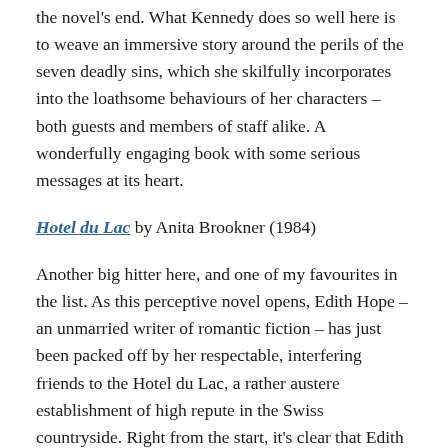the novel's end. What Kennedy does so well here is to weave an immersive story around the perils of the seven deadly sins, which she skilfully incorporates into the loathsome behaviours of her characters – both guests and members of staff alike. A wonderfully engaging book with some serious messages at its heart.
Hotel du Lac by Anita Brookner (1984)
Another big hitter here, and one of my favourites in the list. As this perceptive novel opens, Edith Hope – an unmarried writer of romantic fiction – has just been packed off by her respectable, interfering friends to the Hotel du Lac, a rather austere establishment of high repute in the Swiss countryside. Right from the start, it's clear that Edith has been banished from her sector of society, sent away to reflect on her misdemeanours, to 'become herself again' following some undisclosed scandal. (The reason for Edith's exile is eventually revealed, but not until the last third of the